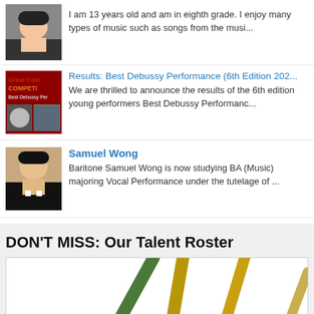I am 13 years old and am in eighth grade. I enjoy many types of music such as songs from the musi...
Results: Best Debussy Performance (6th Edition 202...
We are thrilled to announce the results of the 6th edition young performers Best Debussy Performanc...
Samuel Wong
Baritone Samuel Wong is now studying BA (Music) majoring Vocal Performance under the tutelage of ...
DON'T MISS: Our Talent Roster
[Figure (photo): Decorative image showing musical instrument elements (conductor batons/sticks) with green and golden colors on white background]